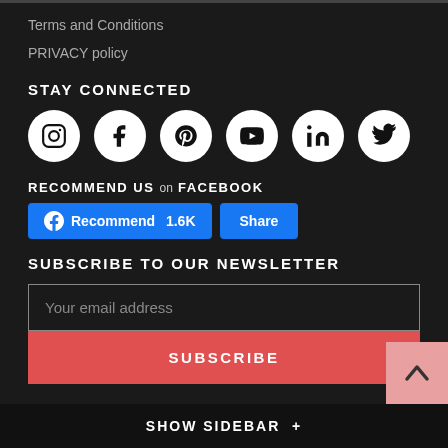Terms and Conditions
PRIVACY policy
STAY CONNECTED
[Figure (infographic): Six social media icons in white circles: Instagram, Facebook, Pinterest, YouTube, LinkedIn, Twitter]
RECOMMEND US on FACEBOOK
[Figure (screenshot): Facebook Recommend button showing 1.6K and a Share button]
SUBSCRIBE TO OUR NEWSLETTER
Your email address
SUBSCRIBE
SHOW SIDEBAR +